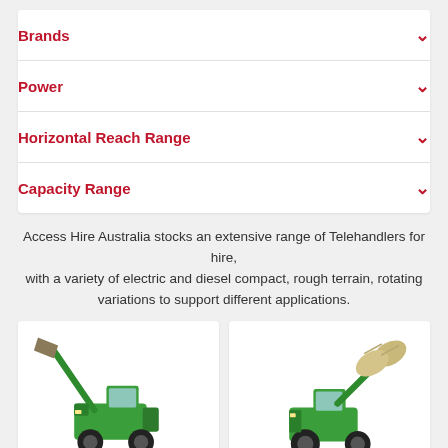Brands
Power
Horizontal Reach Range
Capacity Range
Access Hire Australia stocks an extensive range of Telehandlers for hire, with a variety of electric and diesel compact, rough terrain, rotating variations to support different applications.
[Figure (photo): Green telehandler/forklift machine with extended boom arm and bucket attachment, photographed against white background]
[Figure (photo): Green telehandler/forklift machine carrying a large cylindrical bale/roll, photographed against white background]